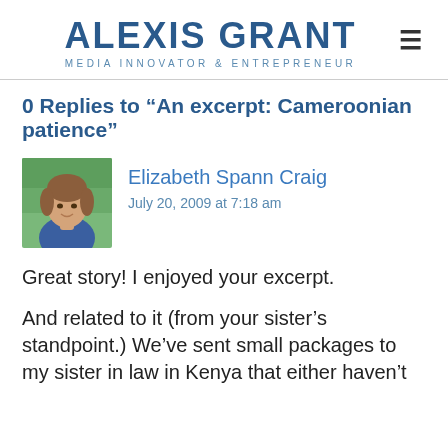ALEXIS GRANT
MEDIA INNOVATOR & ENTREPRENEUR
0 Replies to “An excerpt: Cameroonian patience”
[Figure (photo): Profile photo of Elizabeth Spann Craig, a woman with brown hair wearing a blue top, outdoors with green foliage background]
Elizabeth Spann Craig
July 20, 2009 at 7:18 am
Great story! I enjoyed your excerpt.
And related to it (from your sister’s standpoint.) We’ve sent small packages to my sister in law in Kenya that either haven’t